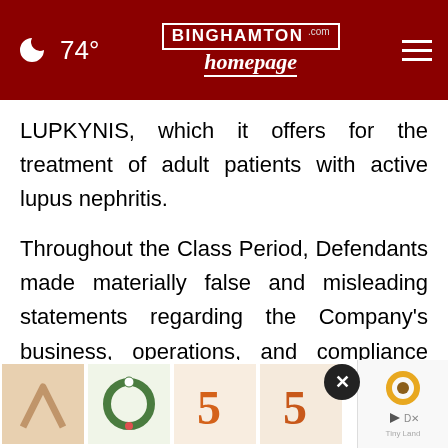🌙 74° | BINGHAMTON homepage.com
LUPKYNIS, which it offers for the treatment of adult patients with active lupus nephritis.
Throughout the Class Period, Defendants made materially false and misleading statements regarding the Company's business, operations, and compliance policies. Specifically, Defendants made false and/or misleading statements and/or failed to disclose that: (i) Aurinia was experiencing declining revenues; (ii) Aurinia [revenues] would fall well short of expectations; (iii) accordingly
[Figure (screenshot): Ad overlay with close button (X), thumbnail images of decorative items (wreath, ornaments, sunflower wreath), and a Tiny Land sponsored play button]